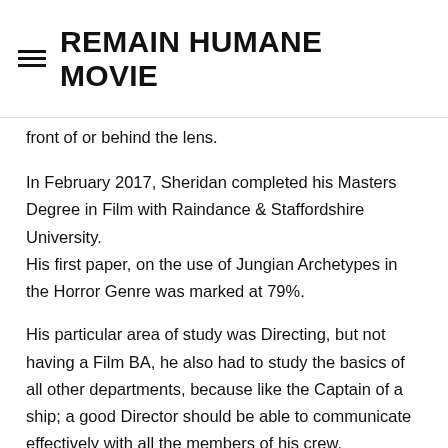REMAIN HUMANE MOVIE
front of or behind the lens.
In February 2017, Sheridan completed his Masters Degree in Film with Raindance & Staffordshire University.
His first paper, on the use of Jungian Archetypes in the Horror Genre was marked at 79%.
His particular area of study was Directing, but not having a Film BA, he also had to study the basics of all other departments, because like the Captain of a ship; a good Director should be able to communicate effectively with all the members of his crew.